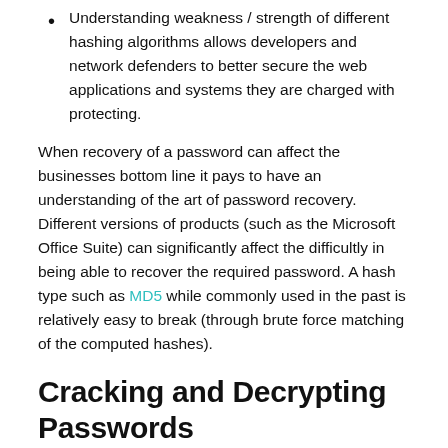Understanding weakness / strength of different hashing algorithms allows developers and network defenders to better secure the web applications and systems they are charged with protecting.
When recovery of a password can affect the businesses bottom line it pays to have an understanding of the art of password recovery. Different versions of products (such as the Microsoft Office Suite) can significantly affect the difficultly in being able to recover the required password. A hash type such as MD5 while commonly used in the past is relatively easy to break (through brute force matching of the computed hashes).
Cracking and Decrypting Passwords